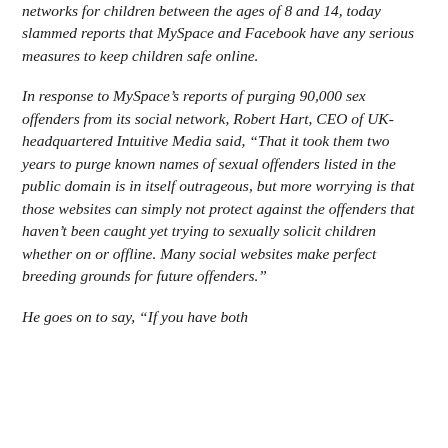networks for children between the ages of 8 and 14, today slammed reports that MySpace and Facebook have any serious measures to keep children safe online.
In response to MySpace's reports of purging 90,000 sex offenders from its social network, Robert Hart, CEO of UK-headquartered Intuitive Media said, "That it took them two years to purge known names of sexual offenders listed in the public domain is in itself outrageous, but more worrying is that those websites can simply not protect against the offenders that haven't been caught yet trying to sexually solicit children whether on or offline. Many social websites make perfect breeding grounds for future offenders."
He goes on to say, "If you have both